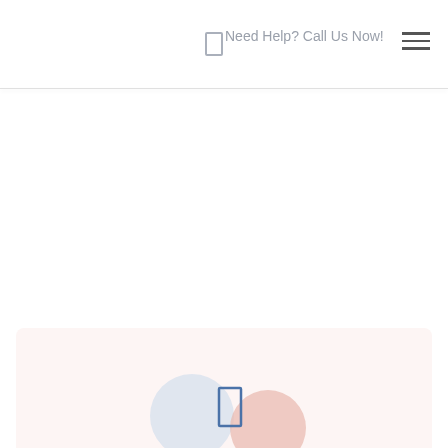Need Help? Call Us Now!
[Figure (illustration): Bottom section showing decorative illustration with a blue-outlined door/window rectangle, a large light blue circle on the left, and a salmon/pink circle on the right, on a light pinkish background panel]